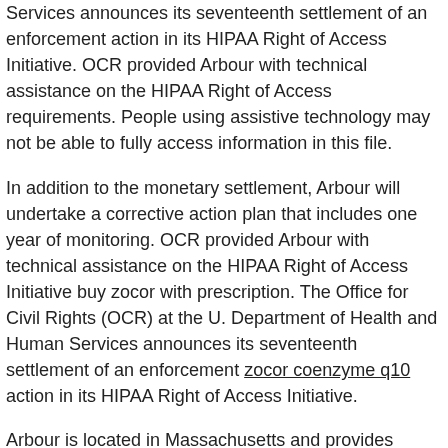Services announces its seventeenth settlement of an enforcement action in its HIPAA Right of Access Initiative. OCR provided Arbour with technical assistance on the HIPAA Right of Access requirements. People using assistive technology may not be able to fully access information in this file.
In addition to the monetary settlement, Arbour will undertake a corrective action plan that includes one year of monitoring. OCR provided Arbour with technical assistance on the HIPAA Right of Access Initiative buy zocor with prescription. The Office for Civil Rights (OCR) at the U. Department of Health and Human Services announces its seventeenth settlement of an enforcement zocor coenzyme q10 action in its HIPAA Right of Access Initiative.
Arbour is located in Massachusetts and provides behavioral health services. In addition to the monetary settlement, Arbour will undertake a corrective action plan that includes one year of monitoring.